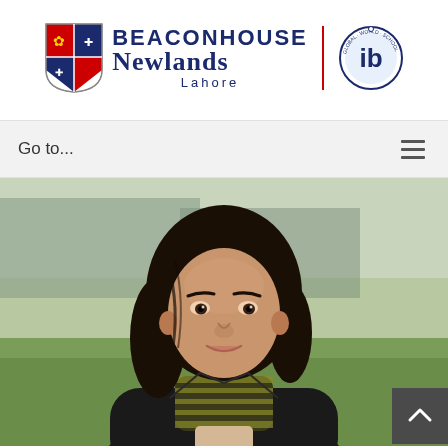[Figure (logo): Beaconhouse Newlands Lahore logo with school crest/shield on left, school name in center, red vertical divider, and IB (International Baccalaureate) circular badge on right]
Go to...
[Figure (photo): Portrait photo of a young woman with dark hair, wearing a black blazer and striped scarf, smiling, standing outdoors on a grass field with a building in the background]